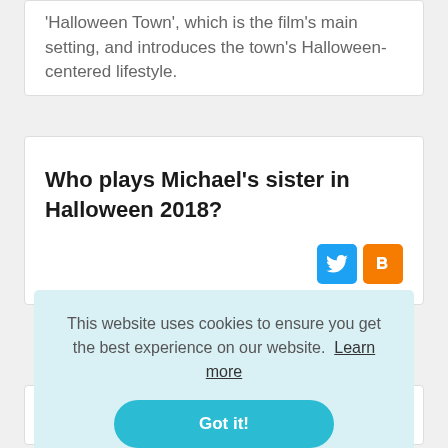'Halloween Town', which is the film's main setting, and introduces the town's Halloween-centered lifestyle.
Who plays Michael's sister in Halloween 2018?
[Figure (other): Twitter and Blogger social media share icons]
This website uses cookies to ensure you get the best experience on our website.  Learn more
Got it!
Who is conformity in Michael